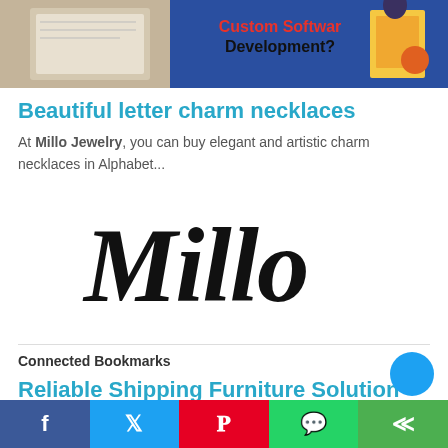[Figure (screenshot): Top banner image showing 'Custom Software Development?' text with colorful illustration on blue/purple background and a framed picture on the left side]
Beautiful letter charm necklaces
At Millo Jewelry, you can buy elegant and artistic charm necklaces in Alphabet...
[Figure (logo): Millo brand logo in black cursive/script handwriting style]
Connected Bookmarks
Reliable Shipping Furniture Solution